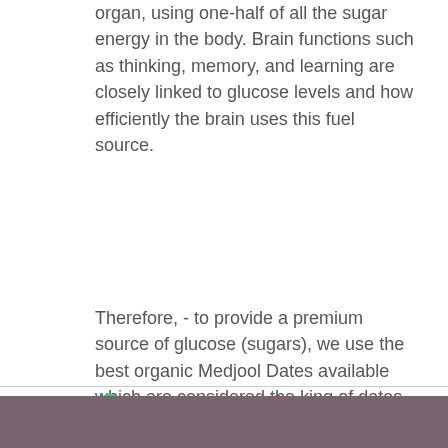organ, using one-half of all the sugar energy in the body. Brain functions such as thinking, memory, and learning are closely linked to glucose levels and how efficiently the brain uses this fuel source.
Therefore,  - to provide a premium source of glucose (sugars), we use the best organic Medjool Dates available which are considered the king of dates. They are bigger, sweeter and much softer, which shines through in the fresh and perfect texture of our bars.
[Figure (other): Social sharing icons: WhatsApp (green), Facebook (dark), Twitter (blue), Pinterest (red)]
[Figure (other): Footer bar in muted purple/mauve color]